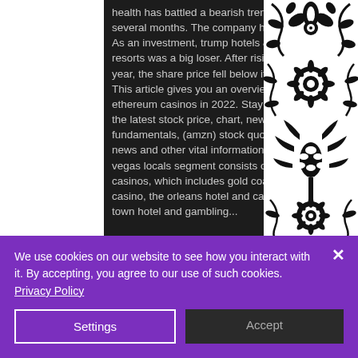health has battled a bearish trend for the last several months. The company has worked on. As an investment, trump hotels &amp; casino resorts was a big loser. After rising for the first year, the share price fell below its $14 offering. This article gives you an overview of the best ethereum casinos in 2022. Stay up to date on the latest stock price, chart, news, analysis, fundamentals, (amzn) stock quote, history, news and other vital information to. The las vegas locals segment consists of eight casinos, which includes gold coast hotel and casino, the orleans hotel and casino, sam's town hotel and gambling...
[Figure (illustration): Black and white floral damask pattern on right side of page]
We use cookies on our website to see how you interact with it. By accepting, you agree to our use of such cookies. Privacy Policy